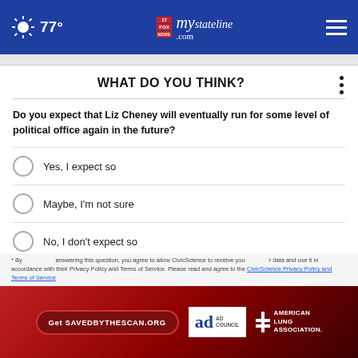77° mystateline.com
WHAT DO YOU THINK?
Do you expect that Liz Cheney will eventually run for some level of political office again in the future?
Yes, I expect so
Maybe, I'm not sure
No, I don't expect so
Other / No opinion
* By answering this question, you agree to allow CivicScience to receive your data and use it in accordance with their Privacy Policy and Terms of Service. Please read and agree to the CivicScience Privacy Policy and Terms of Service